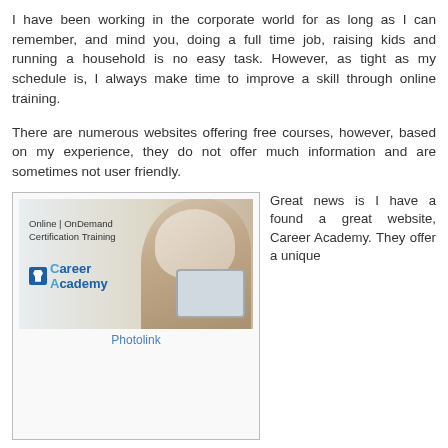I have been working in the corporate world for as long as I can remember, and mind you, doing a full time job, raising kids and running a household is no easy task. However, as tight as my schedule is, I always make time to improve a skill through online training.
There are numerous websites offering free courses, however, based on my experience, they do not offer much information and are sometimes not user friendly.
[Figure (photo): Career Academy advertisement banner showing 'Online | OnDemand Certification Training' with Career Academy logo and a woman reading on a tablet]
Photolink
Great news is I have a found a great website, Career Academy. They offer a unique Online Learning Membership for a low annual fee of only $29! Once you become a member, you will be getting unlimited access to over 1,100+ online courses for Information Technology, Project Management, Cyber Security and Business Skills. I have browsed the website